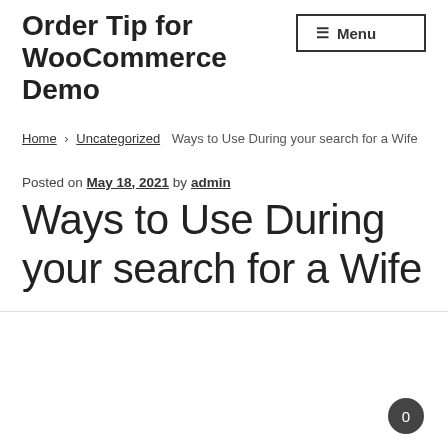Order Tip for WooCommerce Demo
Menu
Home › Uncategorized › Ways to Use During your search for a Wife
Posted on May 18, 2021 by admin
Ways to Use During your search for a Wife